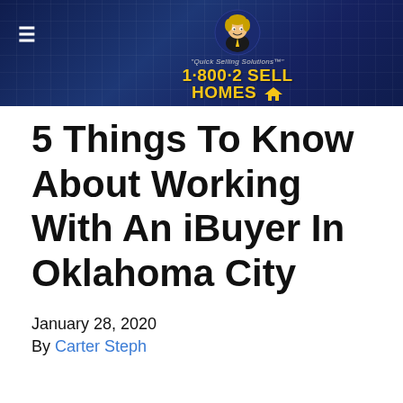[Figure (logo): 1-800-2 Sell Homes website header banner with dark blue aerial city background, hamburger menu icon on left, mascot cartoon character and brand logo in center showing '1·800·2 SELL HOMES' in yellow bold text with tagline 'Quick Selling Solutions']
5 Things To Know About Working With An iBuyer In Oklahoma City
January 28, 2020
By Carter Steph